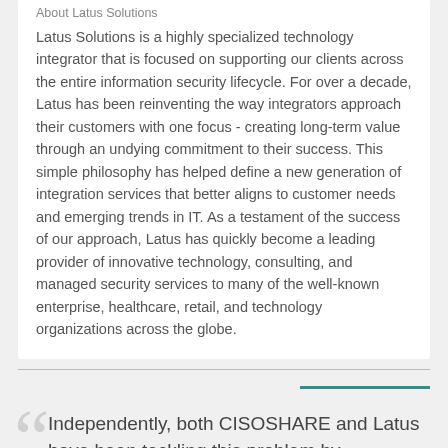About Latus Solutions
Latus Solutions is a highly specialized technology integrator that is focused on supporting our clients across the entire information security lifecycle. For over a decade, Latus has been reinventing the way integrators approach their customers with one focus - creating long-term value through an undying commitment to their success. This simple philosophy has helped define a new generation of integration services that better aligns to customer needs and emerging trends in IT. As a testament of the success of our approach, Latus has quickly become a leading provider of innovative technology, consulting, and managed security services to many of the well-known enterprise, healthcare, retail, and technology organizations across the globe.
Independently, both CISOSHARE and Latus have been tackling this problem by innovating leading solutions to support our customers. Together, we can really accelerate this value with a more comprehensive approach. - Kier Lane